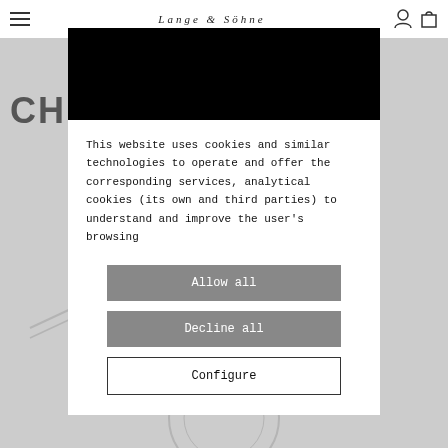LANGE & SÖHNE
CH
This website uses cookies and similar technologies to operate and offer the corresponding services, analytical cookies (its own and third parties) to understand and improve the user's browsing
Allow all
Decline all
Configure